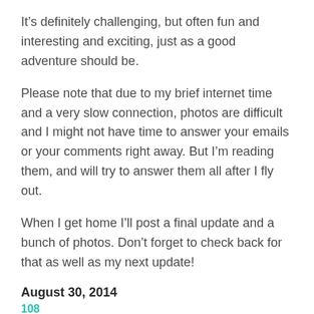It’s definitely challenging, but often fun and interesting and exciting, just as a good adventure should be.
Please note that due to my brief internet time and a very slow connection, photos are difficult and I might not have time to answer your emails or your comments right away. But I’m reading them, and will try to answer them all after I fly out.
When I get home I’ll post a final update and a bunch of photos. Don’t forget to check back for that as well as my next update!
August 30, 2014
108
a reminder I have no phone or internet (or radio, except for NOAA weather) out here so every two weeks